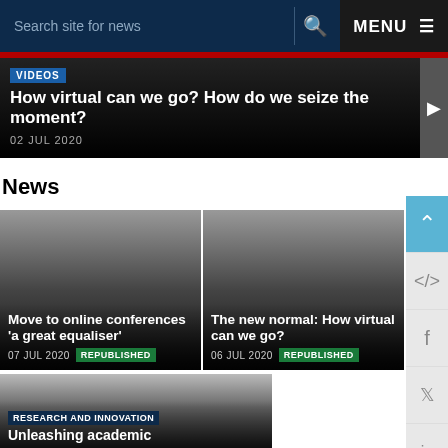Search site for news | MENU
[Figure (screenshot): Featured video banner with VIDEOS badge, title 'How virtual can we go? How do we seize the moment?', date 02 JUL 2020, and video camera icon on right]
News
[Figure (screenshot): News card: Move to online conferences 'a great equaliser', 07 JUL 2020, REPUBLISHED badge]
[Figure (screenshot): News card: The new normal: How virtual can we go?, 06 JUL 2020, REPUBLISHED badge]
[Figure (screenshot): News card: RESEARCH AND INNOVATION badge, partial title 'Unleashing academic']
[Figure (screenshot): Side toolbar with up arrow (blue), code icon, Facebook icon, Twitter icon, LinkedIn icon]